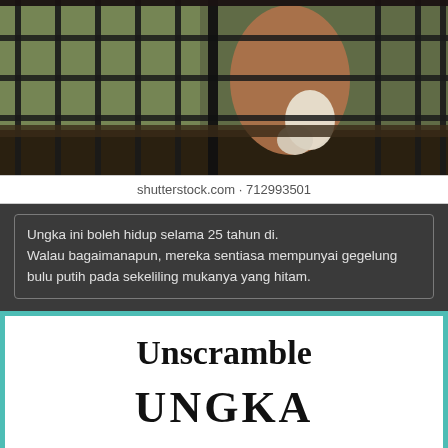[Figure (photo): A white-handed gibbon (ungka) inside a cage with metal bars, viewed from behind showing its white fur tail/hand. The animal is positioned against a grid of dark metal cage bars with green foliage visible in the background.]
shutterstock.com · 712993501
Ungka ini boleh hidup selama 25 tahun di. Walau bagaimanapun, mereka sentiasa mempunyai gegelung bulu putih pada sekeliling mukanya yang hitam.
Unscramble
UNGKA